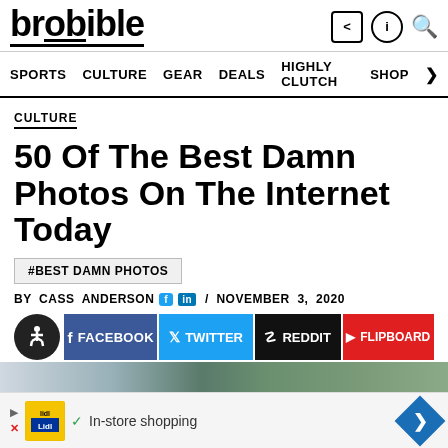brobible — SPORTS  CULTURE  GEAR  DEALS  HIGHLY CLUTCH  SHOP
CULTURE
50 Of The Best Damn Photos On The Internet Today
#BEST DAMN PHOTOS
BY CASS ANDERSON / NOVEMBER 3, 2020
FACEBOOK  TWITTER  REDDIT  FLIPBOARD
[Figure (photo): Partial view of article hero image showing outdoor/nature scene]
In-store shopping (advertisement)